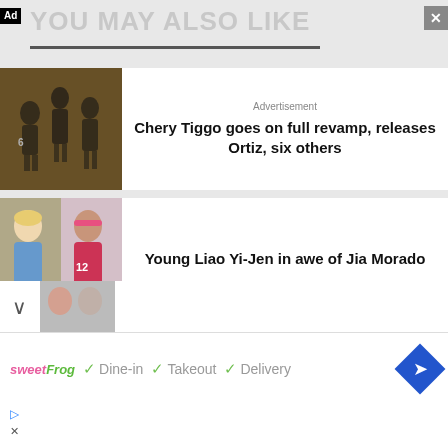YOU MAY ALSO LIKE
Advertisement
Chery Tiggo goes on full revamp, releases Ortiz, six others
[Figure (photo): Volleyball players celebrating on a court]
[Figure (photo): Two female volleyball players, one blonde and one wearing pink headband with jersey number 12]
Young Liao Yi-Jen in awe of Jia Morado
[Figure (photo): Partial view of a third article image]
sweetFrog  ✓ Dine-in  ✓ Takeout  ✓ Delivery